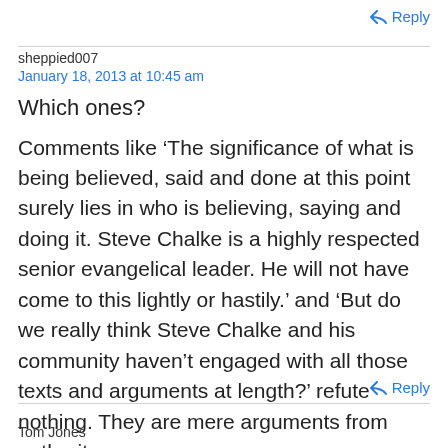↩ Reply
sheppied007
January 18, 2013 at 10:45 am
Which ones?
Comments like ‘The significance of what is being believed, said and done at this point surely lies in who is believing, saying and doing it. Steve Chalke is a highly respected senior evangelical leader. He will not have come to this lightly or hastily.’ and ‘But do we really think Steve Chalke and his community haven’t engaged with all those texts and arguments at length?’ refute nothing. They are mere arguments from authority.
↩ Reply
Tom Jones